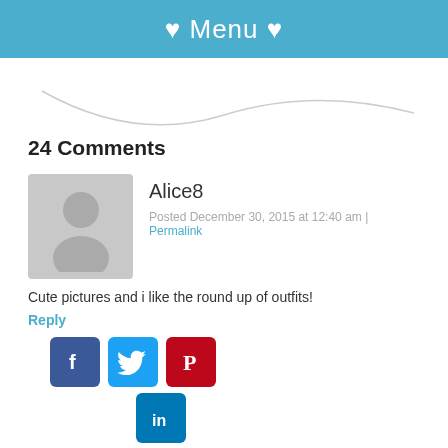♥ Menu ♥
[Figure (illustration): Decorative curved line divider]
24 Comments
[Figure (photo): Generic user avatar placeholder (gray silhouette)]
Alice8
Posted December 30, 2015 at 12:40 am | Permalink
Cute pictures and i like the round up of outfits!
Reply
[Figure (logo): Social media icons: Facebook, Twitter, Pinterest, LinkedIn]